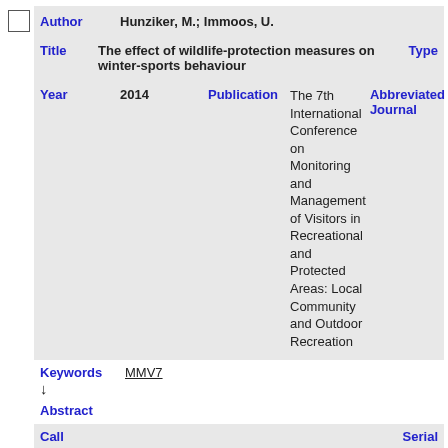Author: Hunziker, M.; Immoos, U.
Title: The effect of wildlife-protection measures on winter-sports behaviour | Type
Year: 2014 | Publication: The 7th International Conference on Monitoring and Management of Visitors in Recreational and Protected Areas: Local Community and Outdoor Recreation | Abbreviated Journal
Volume: MMV 7 - Proceedings | Issue | Pages
Keywords (↓): MMV7
Abstract
Call | Serial